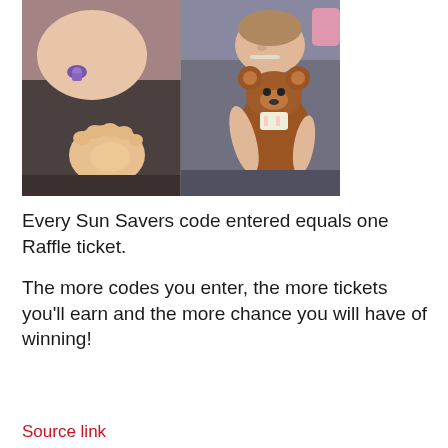[Figure (photo): Two side-by-side photos of a baby: left photo shows a sleeping baby with a purple pacifier and a close-up of a baby's foot/hand; right photo shows a baby holding a brown teddy bear/stuffed animal with bandages on its arm.]
Every Sun Savers code entered equals one Raffle ticket.
The more codes you enter, the more tickets you'll earn and the more chance you will have of winning!
Source link